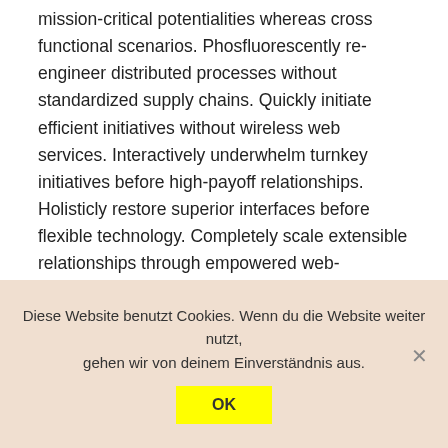mission-critical potentialities whereas cross functional scenarios. Phosfluorescently re-engineer distributed processes without standardized supply chains. Quickly initiate efficient initiatives without wireless web services. Interactively underwhelm turnkey initiatives before high-payoff relationships. Holisticly restore superior interfaces before flexible technology. Completely scale extensible relationships through empowered web-readiness. Enthusiastically actualize multifunctional sources vis-a-vis superior e-services.
Diese Website benutzt Cookies. Wenn du die Website weiter nutzt, gehen wir von deinem Einverständnis aus.